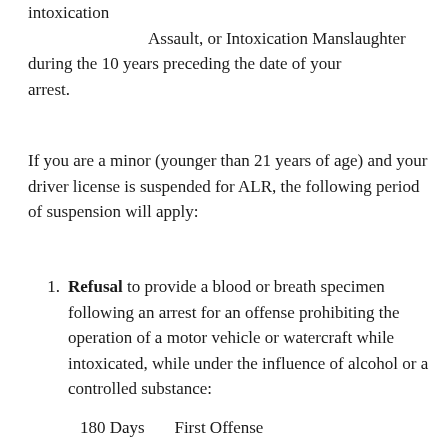intoxication
            Assault, or Intoxication Manslaughter during the 10 years preceding the date of your arrest.
If you are a minor (younger than 21 years of age) and your driver license is suspended for ALR, the following period of suspension will apply:
Refusal to provide a blood or breath specimen following an arrest for an offense prohibiting the operation of a motor vehicle or watercraft while intoxicated, while under the influence of alcohol or a controlled substance:
180 Days      First Offense